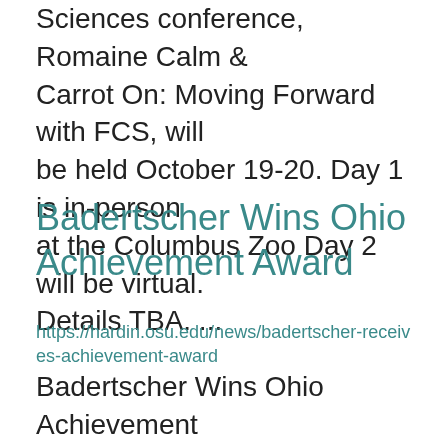Sciences conference, Romaine Calm & Carrot On: Moving Forward with FCS, will be held October 19-20. Day 1 is in-person at the Columbus Zoo Day 2 will be virtual. Details TBA. ...
Badertscher Wins Ohio Achievement Award
https://hardin.osu.edu/news/badertscher-receives-achievement-award
Badertscher Wins Ohio Achievement Award Mark Badertscher, Hardin County ANR Educator Hardin County – Mark Badertscher was selected as one of two Ohio Agriculture and Natural Resources